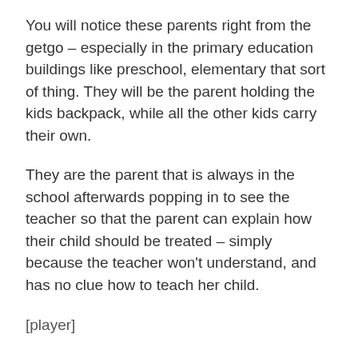You will notice these parents right from the getgo – especially in the primary education buildings like preschool, elementary that sort of thing. They will be the parent holding the kids backpack, while all the other kids carry their own.
They are the parent that is always in the school afterwards popping in to see the teacher so that the parent can explain how their child should be treated – simply because the teacher won't understand, and has no clue how to teach her child.
[player]
What happens when you do that is, you are removing their independence and stopping them from learning and doing things for themselves.